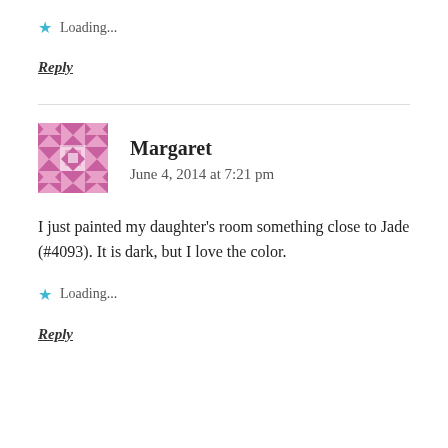Loading...
Reply
[Figure (illustration): Pink avatar with geometric/quilt pattern of diamonds and stars]
Margaret
June 4, 2014 at 7:21 pm
I just painted my daughter's room something close to Jade (#4093). It is dark, but I love the color.
Loading...
Reply